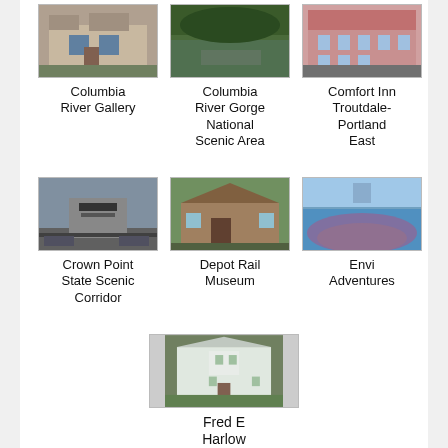[Figure (photo): Photo of Columbia River Gallery building]
Columbia River Gallery
[Figure (photo): Photo of Columbia River Gorge National Scenic Area]
Columbia River Gorge National Scenic Area
[Figure (photo): Photo of Comfort Inn Troutdale-Portland East hotel]
Comfort Inn Troutdale-Portland East
[Figure (photo): Photo of Crown Point State Scenic Corridor sign]
Crown Point State Scenic Corridor
[Figure (photo): Photo of Depot Rail Museum building]
Depot Rail Museum
[Figure (photo): Aerial photo for Envi Adventures]
Envi Adventures
[Figure (photo): Photo of Fred E Harlow House Museum]
Fred E Harlow House Museum